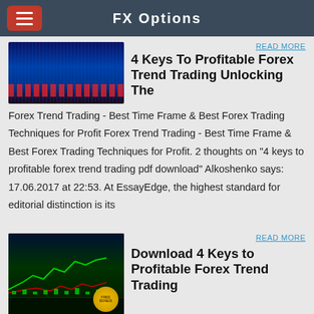FX Options
[Figure (screenshot): Forex trading chart thumbnail with blue/dark background and red candlestick lines]
4 Keys To Profitable Forex Trend Trading Unlocking The
Forex Trend Trading - Best Time Frame & Best Forex Trading Techniques for Profit Forex Trend Trading - Best Time Frame & Best Forex Trading Techniques for Profit. 2 thoughts on “4 keys to profitable forex trend trading pdf download” Alkoshenko says: 17.06.2017 at 22:53. At EssayEdge, the highest standard for editorial distinction is its
[Figure (screenshot): Forex trading chart thumbnail with green candlestick lines and gold badge, dark background]
Download 4 Keys to Profitable Forex Trend Trading
2014/08/15 · Over-trading is a forex traders worst enemy and every successful forex trader will attest to that. If you can be in and out of